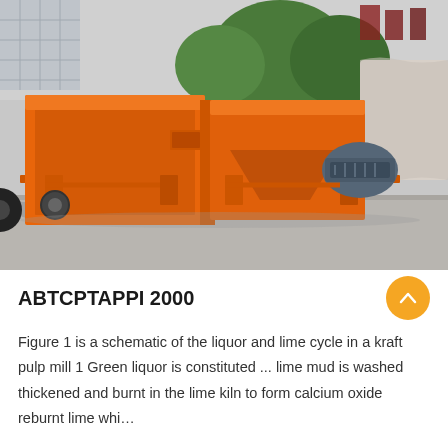[Figure (photo): Orange industrial vibrating screen / feeder machine with motor and frame, photographed outdoors on a concrete surface with trees and a building in the background.]
ABTCPTAPPI 2000
Figure 1 is a schematic of the liquor and lime cycle in a kraft pulp mill 1 Green liquor is constituted ... lime mud is washed thickened and burnt in the lime kiln to form calcium oxide reburnt lime whi...